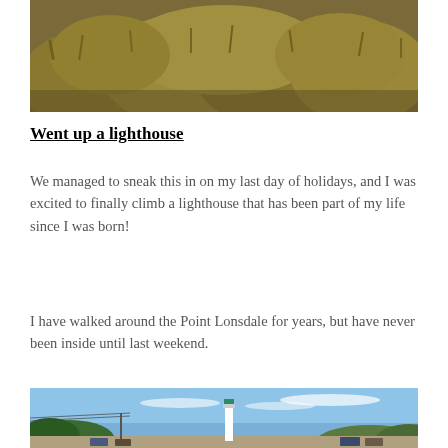[Figure (photo): Close-up photo of yellow-brown coastal scrub/seaweed vegetation on rocky terrain]
Went up a lighthouse
We managed to sneak this in on my last day of holidays, and I was excited to finally climb a lighthouse that has been part of my life since I was born!
I have walked around the Point Lonsdale for years, but have never been inside until last weekend.
[Figure (photo): Photo of Point Lonsdale lighthouse: a white lighthouse tower visible above roadside scrub under a bright blue sky with wispy clouds, cars parked along the road in the foreground]